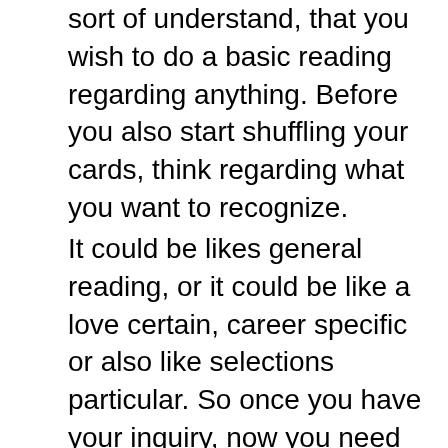sort of understand, that you wish to do a basic reading regarding anything. Before you also start shuffling your cards, think regarding what you want to recognize.
It could be likes general reading, or it could be like a love certain, career specific or also like selections particular. So once you have your inquiry, now you need to consider an infect make use of. Selecting a spread is easy due to the fact that online there are a couple of spreads you can choose from.
There are preferred ones like “Past, Present, Future”. Or 3 card analysis, or the 10 card Celtic Cross. Based on your concern, number out what spread you desire. And since this is a beginner Tarot analysis, I’m gonna simply